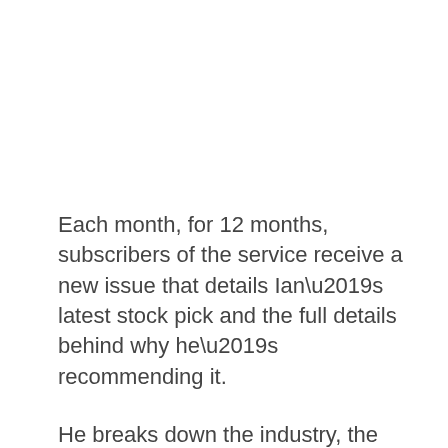Each month, for 12 months, subscribers of the service receive a new issue that details Ian’s latest stock pick and the full details behind why he’s recommending it.
He breaks down the industry, the company, why he’s bullish, and so on.
You also get access to the model portfolio, which contains all of Ian’s latest stock